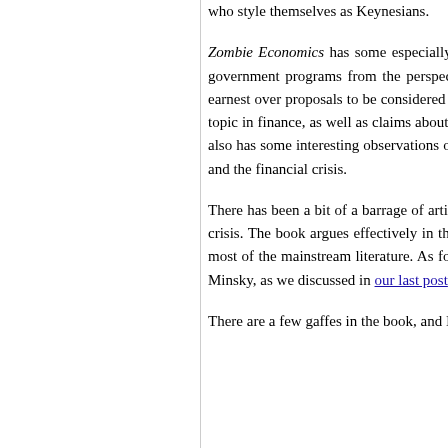who style themselves as Keynesians.
Zombie Economics has some especially interesting discussion drawing on Quiggin's own research (some of it coauthored with Simon Grant) on the evaluation of government programs from the perspective of public-sector economics and especially public finance. This topic may be important now that debate has begun in earnest over proposals to be considered by the new Congress. Quiggin's critique of the case for privatization also touches on the equity premium puzzle, an important topic in finance, as well as claims about the role of finance in the business cycle, which Robert Lucas and many other economists have argued is negligible. The book also has some interesting observations on income inequality, the Efficient Markets Hypothesis, and other matters relevant to the Great Recession, the housing bubble, and the financial crisis.
There has been a bit of a barrage of articles and columns arguing that macroeconomic ideas are largely to blame for policy mistakes leading to the 2007–08 financial crisis. The book argues effectively in that vein, but it also provides a broader and deeper perspective on exactly how mistaken those theories are than is available in most of the mainstream literature. As for providing a better understanding of the financial crisis, Quiggin discusses behavioral economics, as well as the late Hyman Minsky, as we discussed in our last post.
There are a few gaffes in the book, and I have some differences with some of the book's arguments on economics and public policy. T